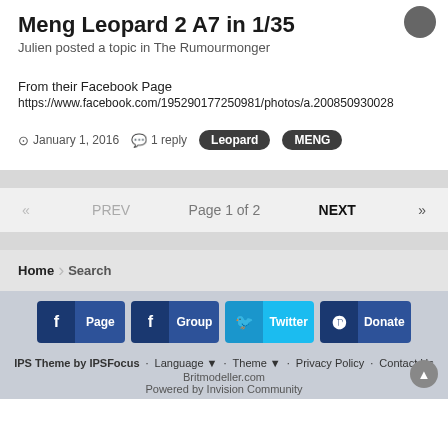Meng Leopard 2 A7 in 1/35
Julien posted a topic in The Rumourmonger
From their Facebook Page
https://www.facebook.com/195290177250981/photos/a.200850930028
January 1, 2016   1 reply   Leopard   MENG
« PREV   Page 1 of 2   NEXT »
Home   Search
f Page   f Group   Twitter   Donate
IPS Theme by IPSFocus   Language ▼   Theme ▼   Privacy Policy   Contact Us
Britmodeller.com
Powered by Invision Community